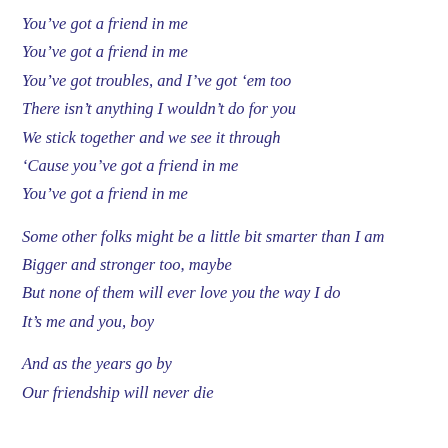You've got a friend in me
You've got a friend in me
You've got troubles, and I've got 'em too
There isn't anything I wouldn't do for you
We stick together and we see it through
'Cause you've got a friend in me
You've got a friend in me
Some other folks might be a little bit smarter than I am
Bigger and stronger too, maybe
But none of them will ever love you the way I do
It's me and you, boy
And as the years go by
Our friendship will never die